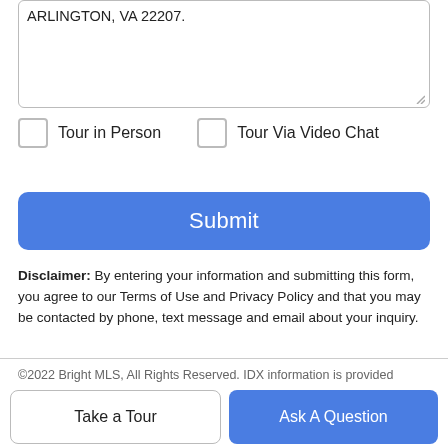ARLINGTON, VA 22207.
Tour in Person
Tour Via Video Chat
Submit
Disclaimer: By entering your information and submitting this form, you agree to our Terms of Use and Privacy Policy and that you may be contacted by phone, text message and email about your inquiry.
©2022 Bright MLS, All Rights Reserved. IDX information is provided exclusively for consumers' personal, non-commercial use and may not be used for any purpose other than to identify prospective properties consumers may be interested in
Take a Tour
Ask A Question